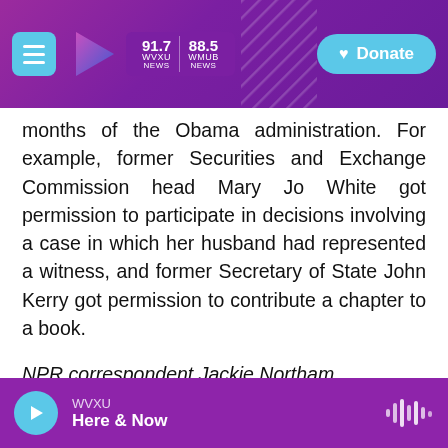WVXU 91.7 NEWS | WMUB 88.5 NEWS | Donate
months of the Obama administration. For example, former Securities and Exchange Commission head Mary Jo White got permission to participate in decisions involving a case in which her husband had represented a witness, and former Secretary of State John Kerry got permission to contribute a chapter to a book.
NPR correspondent Jackie Northam contributed to this report.
Copyright 2021 NPR. To see more, visit https://www.npr.org.
WVXU Here & Now